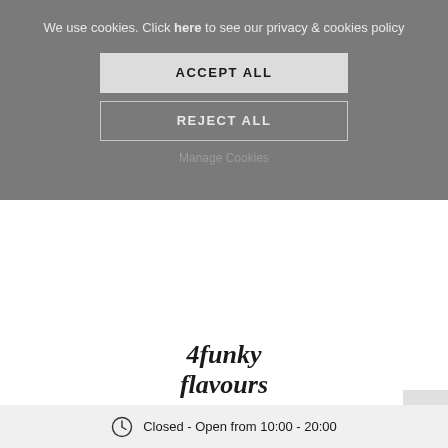We use cookies. Click here to see our privacy & cookies policy
ACCEPT ALL
REJECT ALL
Manage Cookies
[Figure (logo): 4funky flavours logo in bold italic serif font]
Closed - Open from 10:00 - 20:00